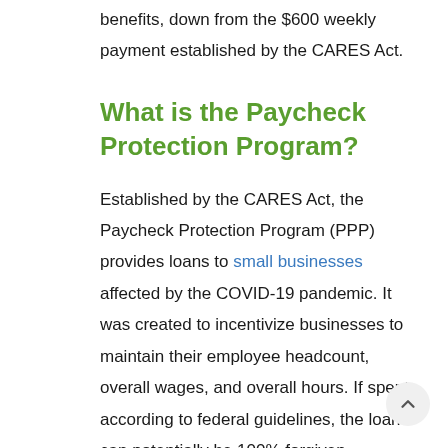benefits, down from the $600 weekly payment established by the CARES Act.
What is the Paycheck Protection Program?
Established by the CARES Act, the Paycheck Protection Program (PPP) provides loans to small businesses affected by the COVID-19 pandemic. It was created to incentivize businesses to maintain their employee headcount, overall wages, and overall hours. If spent according to federal guidelines, the loan can potentially be 100% forgiven.